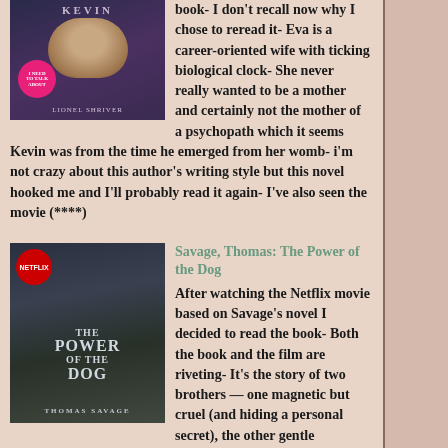book- I don't recall now why I chose to reread it- Eva is a career-oriented wife with ticking biological clock- She never really wanted to be a mother and certainly not the mother of a psychopath which it seems Kevin was from the time he emerged from her womb- i'm not crazy about this author's writing style but this novel hooked me and I'll probably read it again- I've also seen the movie (****)
[Figure (illustration): Book cover of 'We Need to Talk About Kevin' by Lionel Shriver, dark purple/blue tones with a face and pink circular sticker]
Savage, Thomas: The Power of the Dog
[Figure (illustration): Book cover of 'The Power of the Dog' by Thomas Savage, dark moody tones with Netflix badge, showing a man's face]
After watching the Netflix movie based on Savage's novel I decided to read the book- Both the book and the film are riveting- It's the story of two brothers — one magnetic but cruel (and hiding a personal secret), the other gentle